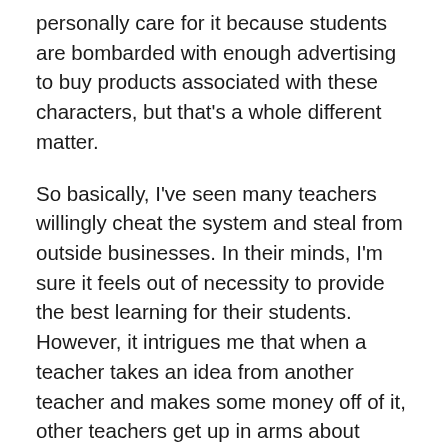personally care for it because students are bombarded with enough advertising to buy products associated with these characters, but that's a whole different matter.
So basically, I've seen many teachers willingly cheat the system and steal from outside businesses. In their minds, I'm sure it feels out of necessity to provide the best learning for their students. However, it intrigues me that when a teacher takes an idea from another teacher and makes some money off of it, other teachers get up in arms about plagiarism. That's not to say that T1 was right to do what she did, but it still strikes me as a double standard.
The other part that gets me about this is that teachers should know that ideas are recycled over and over and over. Games especially are rehashed throughout the years. I've seen 4th graders playing variations of games I